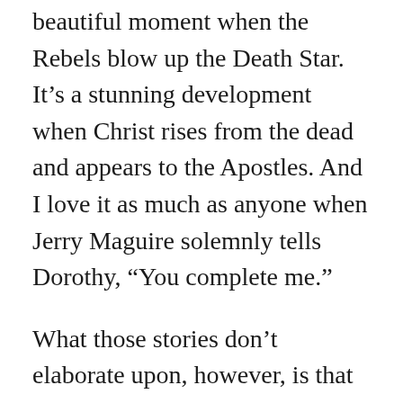beautiful moment when the Rebels blow up the Death Star. It’s a stunning development when Christ rises from the dead and appears to the Apostles. And I love it as much as anyone when Jerry Maguire solemnly tells Dorothy, “You complete me.”
What those stories don’t elaborate upon, however, is that now the prince and Sleeping Beauty have to figure out if they’re well-suited to live happily ever after.
Or whether the Rebels can make an